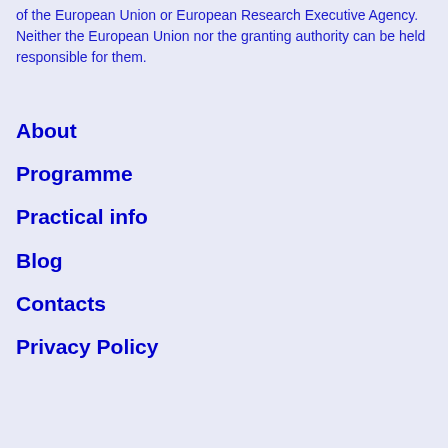of the European Union or European Research Executive Agency. Neither the European Union nor the granting authority can be held responsible for them.
About
Programme
Practical info
Blog
Contacts
Privacy Policy